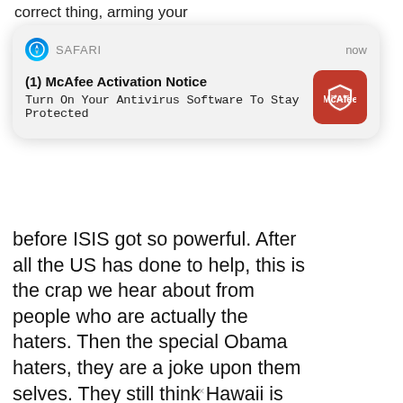correct thing, arming your
[Figure (screenshot): Safari browser notification popup from McAfee: '(1) McAfee Activation Notice - Turn On Your Antivirus Software To Stay Protected', with McAfee red logo icon on right, timestamp 'now']
before ISIS got so powerful. After all the US has done to help, this is the crap we hear about from people who are actually the haters. Then the special Obama haters, they are a joke upon them selves. They still think Hawaii is Kenya. Oh well, the stupidity of it all.
1 ∧ | ∨ 2
Tom Win...